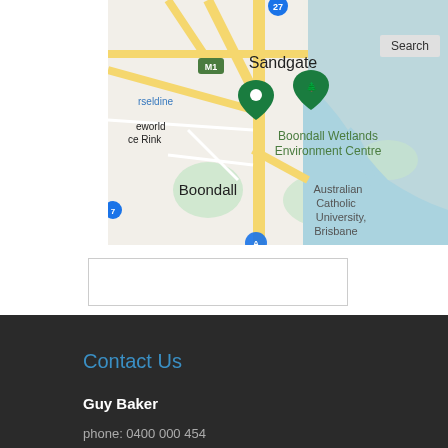[Figure (map): Google Maps screenshot showing Sandgate, Boondall, Boondall Wetlands Environment Centre, Australian Catholic University Brisbane, with road network and water features visible. Green location pins visible on map.]
Search
[Figure (other): Empty white input/search text box with border]
Contact Us
Guy Baker
phone: 0400 000 454